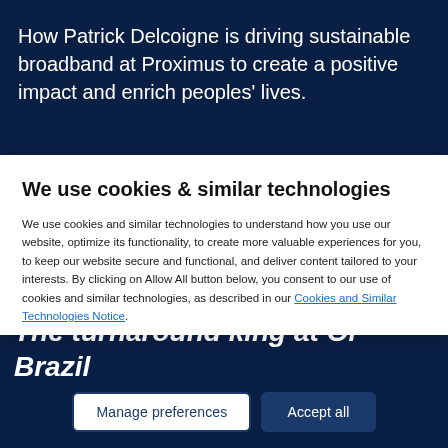How Patrick Delcoigne is driving sustainable broadband at Proximus to create a positive impact and enrich peoples' lives.
We use cookies & similar technologies
We use cookies and similar technologies to understand how you use our website, optimize its functionality, to create more valuable experiences for you, to keep our website secure and functional, and deliver content tailored to your interests. By clicking on Allow All button below, you consent to our use of cookies and similar technologies, as described in our Cookies and Similar Technologies Notice.
Manage preferences
Accept all
The turnaround king at Oi Brazil
How Rodrigo Abreu broke boundaries to transform Oi Brazil – and redefined what a telecoms firm can be.